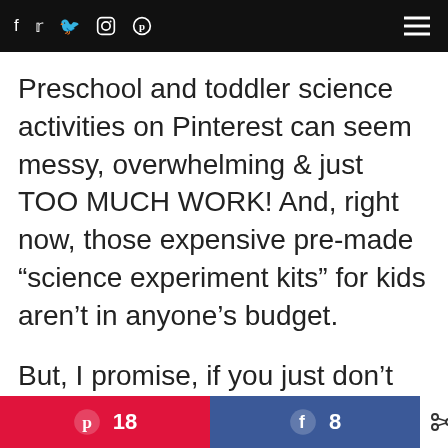f  y  ⊙  ⊕
Preschool and toddler science activities on Pinterest can seem messy, overwhelming & just TOO MUCH WORK! And, right now, those expensive pre-made “science experiment kits” for kids aren’t in anyone’s budget.
But, I promise, if you just don’t over think it. then inexpensive common
[Figure (infographic): Social share bar with Pinterest button showing 18 shares, Facebook button showing 8 shares, and total 26 SHARES]